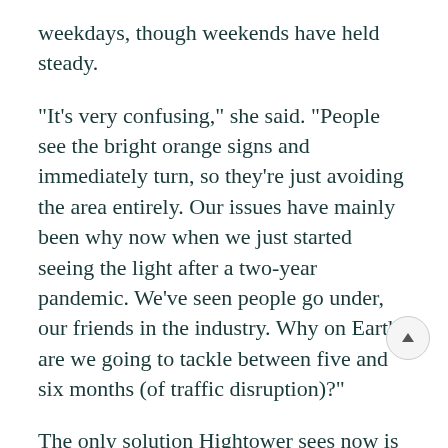weekdays, though weekends have held steady.
“It’s very confusing,” she said. “People see the bright orange signs and immediately turn, so they’re just avoiding the area entirely. Our issues have mainly been why now when we just started seeing the light after a two-year pandemic. We’ve seen people go under, our friends in the industry. Why on Earth are we going to tackle between five and six months (of traffic disruption)?”
The only solution Hightower sees now is to speed up the project, as the city is attempting.
“I’m not trying to just speak for myself or my business,” she said. “I care deeply about the harbor, the community, including all of the